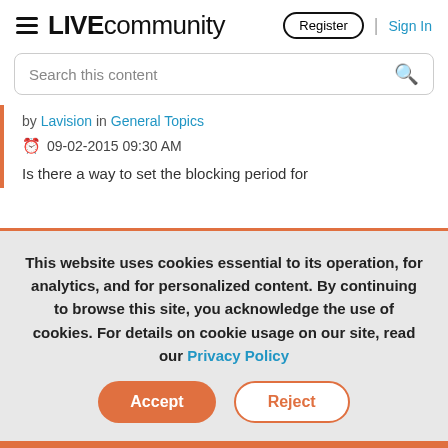LIVE community | Register | Sign In
Search this content
by Lavision in General Topics
09-02-2015 09:30 AM
Is there a way to set the blocking period for
This website uses cookies essential to its operation, for analytics, and for personalized content. By continuing to browse this site, you acknowledge the use of cookies. For details on cookie usage on our site, read our Privacy Policy